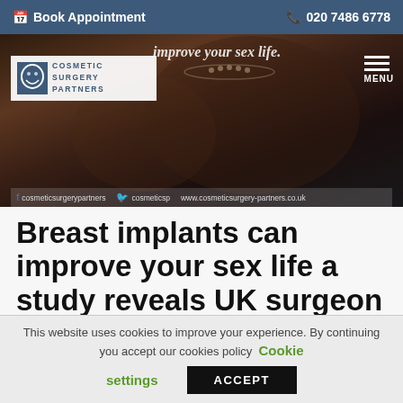Book Appointment   020 7486 6778
[Figure (screenshot): Hero image showing a woman wearing pearls in a dark photo, with text 'improve your sex life.' overlaid. Cosmetic Surgery Partners logo and menu icon visible. Social media bar at bottom showing cosmeticsurgerypartners, cosmeticsp, www.cosmeticsurgery-partners.co.uk]
Breast implants can improve your sex life a study reveals UK surgeon featured
This website uses cookies to improve your experience. By continuing you accept our cookies policy   Cookie settings   ACCEPT